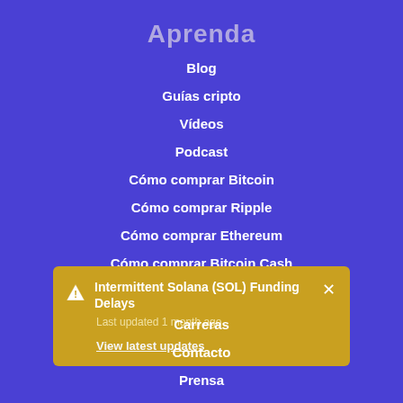Aprenda
Blog
Guías cripto
Vídeos
Podcast
Cómo comprar Bitcoin
Cómo comprar Ripple
Cómo comprar Ethereum
Cómo comprar Bitcoin Cash
Cómo comprar Litecoin
Intermittent Solana (SOL) Funding Delays
Last updated 1 month ago
View latest updates
Carreras
Contacto
Prensa